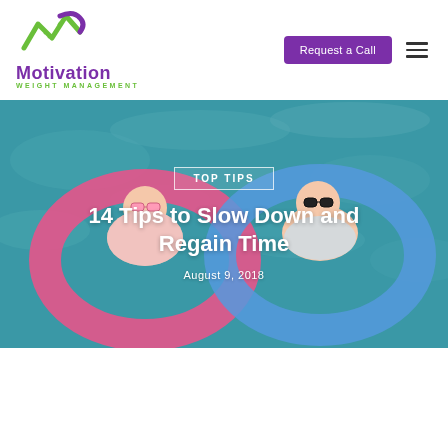[Figure (logo): Motivation Weight Management logo with stylized M graphic in green and purple, text 'Motivation' in purple and 'WEIGHT MANAGEMENT' in green below]
[Figure (other): Purple 'Request a Call' button]
[Figure (photo): Hero image showing two babies in pink and blue inflatable rings floating in a pool. One baby wears sunglasses. Background is aqua/teal pool water.]
TOP TIPS
14 Tips to Slow Down and Regain Time
August 9, 2018